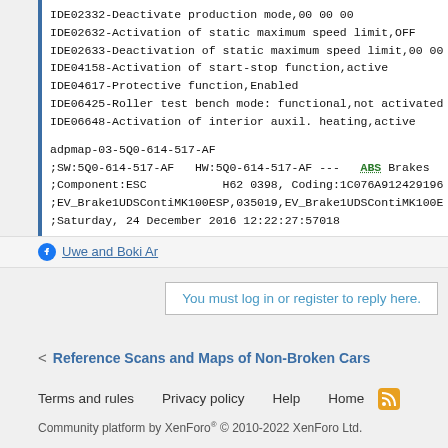IDE02332-Deactivate production mode,00 00 00
IDE02632-Activation of static maximum speed limit,OFF
IDE02633-Deactivation of static maximum speed limit,00 00
IDE04158-Activation of start-stop function,active
IDE04617-Protective function,Enabled
IDE06425-Roller test bench mode: functional,not activated
IDE06648-Activation of interior auxil. heating,active
adpmap-03-5Q0-614-517-AF
;SW:5Q0-614-517-AF   HW:5Q0-614-517-AF --- ABS Brakes
;Component:ESC           H62 0398, Coding:1C076A912429196
;EV_Brake1UDSContiMK100ESP,035019,EV_Brake1UDSContiMK100E
;Saturday, 24 December 2016 12:22:27:57018
Uwe and Boki Ar
You must log in or register to reply here.
Reference Scans and Maps of Non-Broken Cars
Terms and rules   Privacy policy   Help   Home
Community platform by XenForo® © 2010-2022 XenForo Ltd.